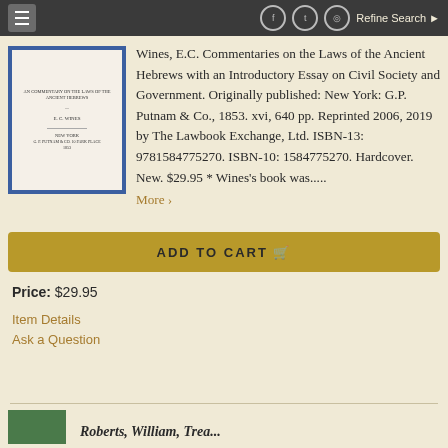Refine Search
[Figure (photo): Book cover thumbnail showing title page of Wines, E.C. Commentaries on the Laws of the Ancient Hebrews, with blue background]
Wines, E.C. Commentaries on the Laws of the Ancient Hebrews with an Introductory Essay on Civil Society and Government. Originally published: New York: G.P. Putnam & Co., 1853. xvi, 640 pp. Reprinted 2006, 2019 by The Lawbook Exchange, Ltd. ISBN-13: 9781584775270. ISBN-10: 1584775270. Hardcover. New. $29.95 * Wines's book was.....
More ›
ADD TO CART
Price: $29.95
Item Details
Ask a Question
Roberts, William, Trea...